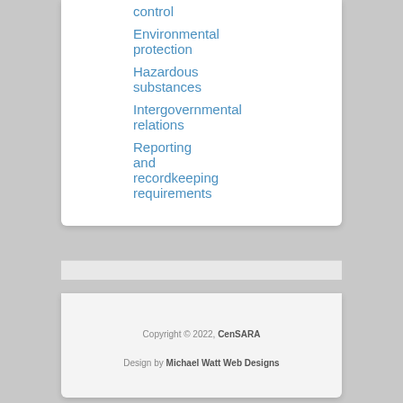control
Environmental protection
Hazardous substances
Intergovernmental relations
Reporting and recordkeeping requirements
Copyright © 2022, CenSARA
Design by Michael Watt Web Designs